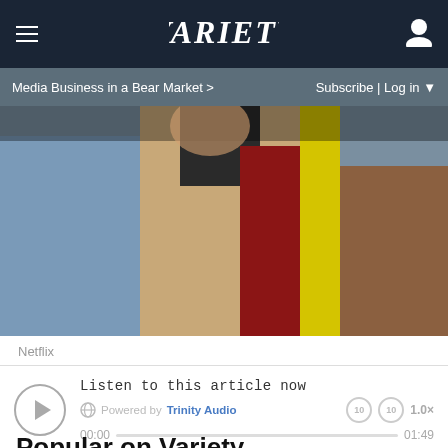VARIETY
Media Business in a Bear Market >
Subscribe | Log in
[Figure (photo): Close-up photo of people wearing colorful clothing including blue, tan, red, and yellow garments]
Netflix
Listen to this article now
Powered by Trinity Audio
00:00  01:49
Popular on Variety